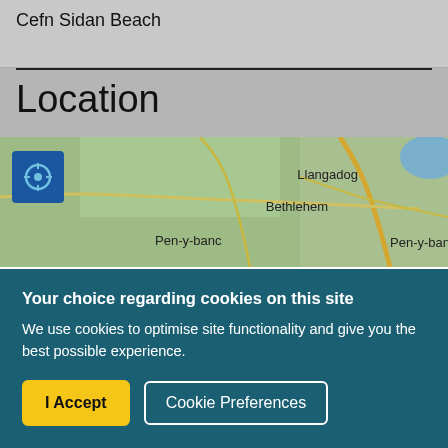Cefn Sidan Beach
Location
[Figure (map): Map showing area around Cefn Sidan Beach with place names: Llangadog, Bethlehem, Pen-y-banc. Green terrain with roads and a blue location button on the left.]
Your choice regarding cookies on this site
We use cookies to optimise site functionality and give you the best possible experience.
I Accept
Cookie Preferences